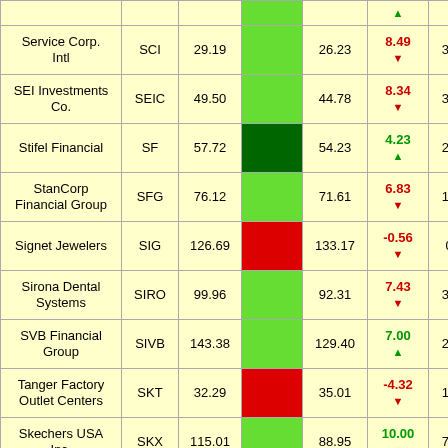| Company | Ticker | Price | Bar | Value2 | Pct Change | Num |
| --- | --- | --- | --- | --- | --- | --- |
| Service Corp. Intl | SCI | 29.19 |  | 26.23 | 8.49 ▼ | 36 |
| SEI Investments Co. | SEIC | 49.50 |  | 44.78 | 8.34 ▼ | 36 |
| Stifel Financial | SF | 57.72 |  | 54.23 | 4.23 ▲ | 21 |
| StanCorp Financial Group | SFG | 76.12 |  | 71.61 | 6.83 ▼ | 15 |
| Signet Jewelers | SIG | 126.69 |  | 133.17 | -0.56 ▼ | 0 |
| Sirona Dental Systems | SIRO | 99.96 |  | 92.31 | 7.43 ▼ | 34 |
| SVB Financial Group | SIVB | 143.38 |  | 129.40 | 7.00 ▲ | 21 |
| Tanger Factory Outlet Centers | SKT | 32.29 |  | 35.01 | -4.32 ▼ | 18 |
| Skechers USA Inc. | SKX | 115.01 |  | 88.95 | 10.00 ▲ | 72 |
| Silicon | SLAB | 52.27 |  | 51.24 | -4.45 | 21 |